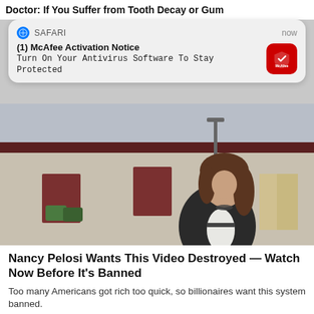Doctor: If You Suffer from Tooth Decay or Gum
SAFARI  now
(1) McAfee Activation Notice
Turn On Your Antivirus Software To Stay Protected
[Figure (photo): A woman in a black jacket smiling outdoors in front of an industrial building with a metal street lamp in the background.]
Nancy Pelosi Wants This Video Destroyed — Watch Now Before It's Banned
Too many Americans got rich too quick, so billionaires want this system banned.
Watch The Video   🔥 165,378